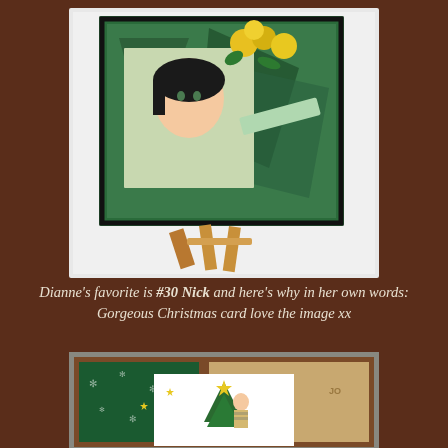[Figure (photo): A handmade greeting card featuring a girl with dark hair surrounded by yellow roses, displayed on a small wooden easel. The card has a black border and green geometric layered background.]
Dianne's favorite is #30 Nick and here's why in her own words: Gorgeous Christmas card love the image xx
[Figure (photo): A handmade Christmas card showing a cartoon boy decorating a Christmas tree with stars. Background includes green snowflake patterned paper and tan 'LOVE FAMILY' text paper.]